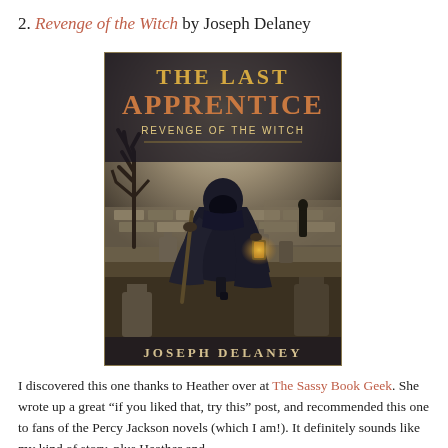2. Revenge of the Witch by Joseph Delaney
[Figure (illustration): Book cover of 'The Last Apprentice: Revenge of the Witch' by Joseph Delaney. Shows a cloaked figure walking through a graveyard at night carrying a lantern and staff, with bare trees and tombstones in the background. Title text at top reads 'THE LAST APPRENTICE' and 'REVENGE OF THE WITCH'. Author name 'JOSEPH DELANEY' at bottom.]
I discovered this one thanks to Heather over at The Sassy Book Geek. She wrote up a great “if you liked that, try this” post, and recommended this one to fans of the Percy Jackson novels (which I am!). It definitely sounds like my kind of story, plus Heather and